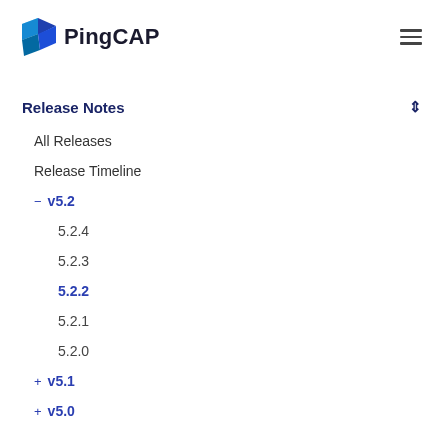[Figure (logo): PingCAP logo with blue angular shape and 'PingCAP' text]
Release Notes
All Releases
Release Timeline
− v5.2
5.2.4
5.2.3
5.2.2
5.2.1
5.2.0
+ v5.1
+ v5.0